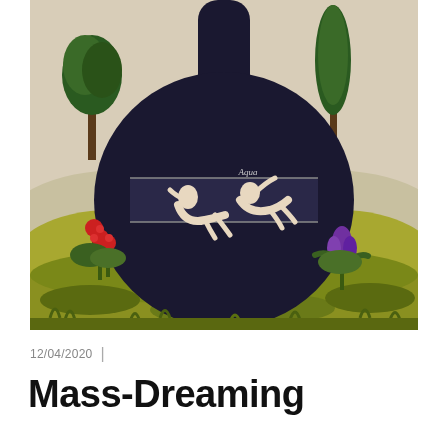[Figure (illustration): Historical alchemical illustration showing a large dark flask/alembic with a long neck set against a landscape. Inside the dark round body of the flask, two naked figures (possibly representing a chemical conjunction) float horizontally with the word 'Aqua' written above them. The landscape includes trees on both sides, green hills, red flowers on the left, and a purple tulip on the right.]
12/04/2020  |
Mass-Dreaming